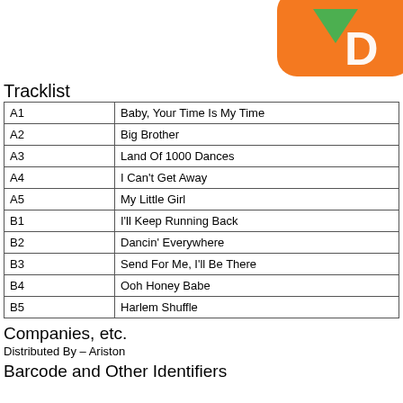[Figure (logo): Orange and green logo (partial, top-right corner) with orange rounded shape and green chevron/arrow, text partially visible]
Tracklist
| A1 | Baby, Your Time Is My Time |
| A2 | Big Brother |
| A3 | Land Of 1000 Dances |
| A4 | I Can't Get Away |
| A5 | My Little Girl |
| B1 | I'll Keep Running Back |
| B2 | Dancin' Everywhere |
| B3 | Send For Me, I'll Be There |
| B4 | Ooh Honey Babe |
| B5 | Harlem Shuffle |
Companies, etc.
Distributed By – Ariston
Barcode and Other Identifiers